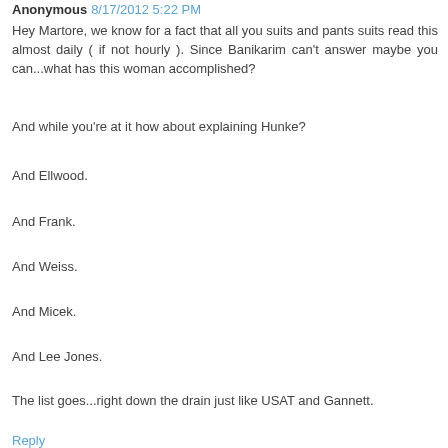Anonymous 8/17/2012 5:22 PM
Hey Martore, we know for a fact that all you suits and pants suits read this almost daily ( if not hourly ). Since Banikarim can't answer maybe you can...what has this woman accomplished?
And while you're at it how about explaining Hunke?
And Ellwood.
And Frank.
And Weiss.
And Micek.
And Lee Jones.
The list goes...right down the drain just like USAT and Gannett.
Reply